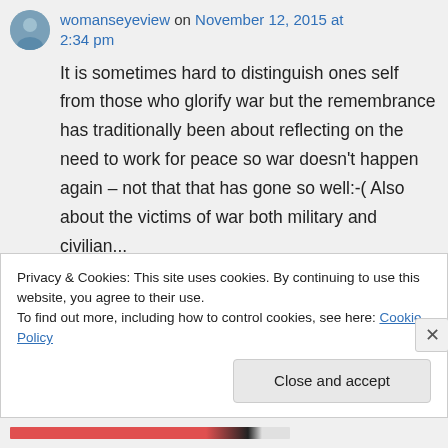womanseyeview on November 12, 2015 at 2:34 pm
It is sometimes hard to distinguish ones self from those who glorify war but the remembrance has traditionally been about reflecting on the need to work for peace so war doesn't happen again – not that that has gone so well:-( Also about the victims of war both military and civilian...
↩ Reply
Privacy & Cookies: This site uses cookies. By continuing to use this website, you agree to their use.
To find out more, including how to control cookies, see here: Cookie Policy
Close and accept